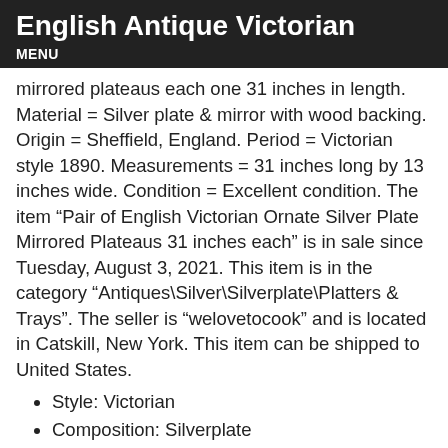English Antique Victorian
MENU
mirrored plateaus each one 31 inches in length. Material = Silver plate & mirror with wood backing. Origin = Sheffield, England. Period = Victorian style 1890. Measurements = 31 inches long by 13 inches wide. Condition = Excellent condition. The item “Pair of English Victorian Ornate Silver Plate Mirrored Plateaus 31 inches each” is in sale since Tuesday, August 3, 2021. This item is in the category “Antiques\Silver\Silverplate\Platters & Trays”. The seller is “welovetocook” and is located in Catskill, New York. This item can be shipped to United States.
Style: Victorian
Composition: Silverplate
Brand: Sheffield